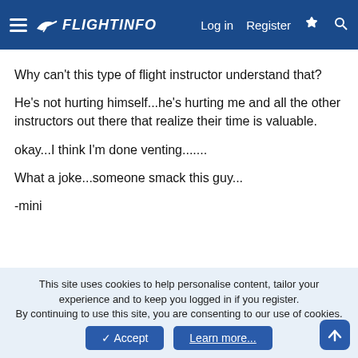FlightInfo — Log in | Register
Why can't this type of flight instructor understand that?
He's not hurting himself...he's hurting me and all the other instructors out there that realize their time is valuable.
okay...I think I'm done venting.......
What a joke...someone smack this guy...
-mini
↩ Reply
viper548
This site uses cookies to help personalise content, tailor your experience and to keep you logged in if you register.
By continuing to use this site, you are consenting to our use of cookies.